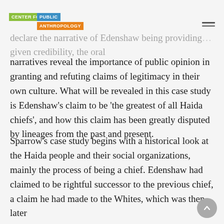CENTER FOR A PUBLIC ANTHROPOLOGY
declare the narrative of Edenshaw being providing… given credibility, the oral narratives reveal the importance of public opinion in granting and refuting claims of legitimacy in their own culture. What will be revealed in this case study is Edenshaw's claim to be 'the greatest of all Haida chiefs', and how this claim has been greatly disputed by lineages from the past and present.
Sparrow's case study begins with a historical look at the Haida people and their social organizations, mainly the process of being a chief. Edenshaw had claimed to be rightful successor to the previous chief, a claim he had made to the Whites, which was then later